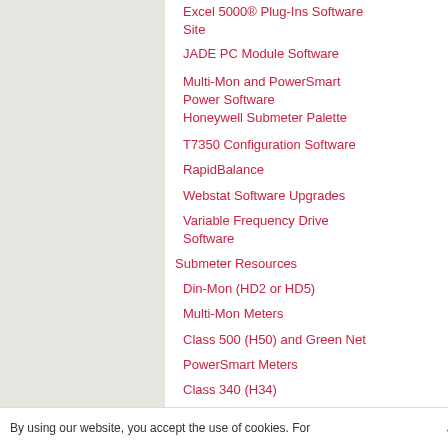Excel 5000® Plug-Ins Software Site
JADE PC Module Software
Multi-Mon and PowerSmart Power Software
Honeywell Submeter Palette
T7350 Configuration Software
RapidBalance
Webstat Software Upgrades
Variable Frequency Drive Software
Submeter Resources
Din-Mon (HD2 or HD5)
Multi-Mon Meters
Class 500 (H50) and Green Net
PowerSmart Meters
Class 340 (H34)
Current Sensors
Class 320 (H32)
Multiple Meter Units (MMUs)
Class 200 (H20) and Green
Class 100 (H10)
Interval Data Recorder (HIDR)
Submeters Software
Warranty
Tech Retrofit Tips
By using our website, you accept the use of cookies. For